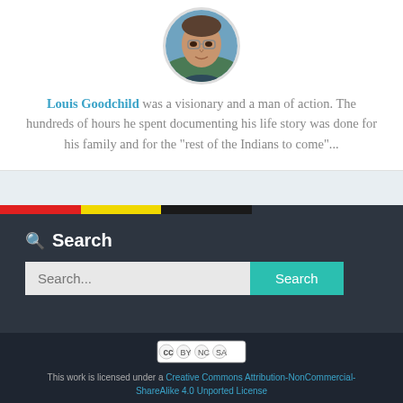[Figure (photo): Circular profile photo of an elderly man wearing glasses, cropped and displayed in a circular frame]
Louis Goodchild was a visionary and a man of action. The hundreds of hours he spent documenting his life story was done for his family and for the "rest of the Indians to come"...
[Figure (infographic): Horizontal color bar stripe with red, yellow, black, and dark gray segments acting as a decorative divider]
Search
Search...
[Figure (logo): Creative Commons BY-NC-SA license badge]
This work is licensed under a Creative Commons Attribution-NonCommercial-ShareAlike 4.0 Unported License